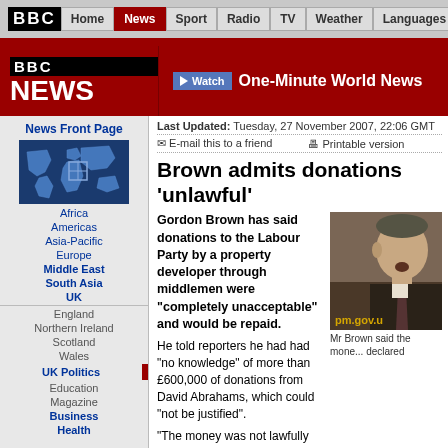BBC | Home | News | Sport | Radio | TV | Weather | Languages
[Figure (logo): BBC News logo with red background and One-Minute World News watch button]
News Front Page
[Figure (illustration): BBC News world map graphic in sidebar]
Africa
Americas
Asia-Pacific
Europe
Middle East
South Asia
UK
England
Northern Ireland
Scotland
Wales
UK Politics
Education
Magazine
Business
Health
Last Updated: Tuesday, 27 November 2007, 22:06 GMT
E-mail this to a friend   Printable version
Brown admits donations 'unlawful'
Gordon Brown has said donations to the Labour Party by a property developer through middlemen were "completely unacceptable" and would be repaid.
[Figure (photo): Photo of Gordon Brown speaking at podium, pm.gov.u watermark visible]
Mr Brown said the money declared
He told reporters he had had "no knowledge" of more than £600,000 of donations from David Abrahams, which could "not be justified".
"The money was not lawfully declared so it will be returned," he said.
Harriet Harman has also pledged to return £5,000 she r... faith" for her deputy leadership bid.
Labour's general secretary Peter Watt resigned on Mon...